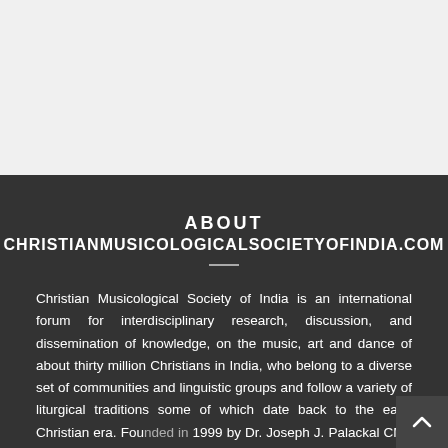ABOUT CHRISTIANMUSICOLOGICALSOCIETYOFINDIA.COM
Christian Musicological Society of India is an international forum for interdisciplinary research, discussion, and dissemination of knowledge, on the music, art and dance of about thirty million Christians in India, who belong to a diverse set of communities and linguistic groups and follow a variety of liturgical traditions some of which date back to the early Christian era. Founded in 1999 by Dr. Joseph J. Palackal CMI, the Society hopes that such researches will draw attention to the lesser known aspects of